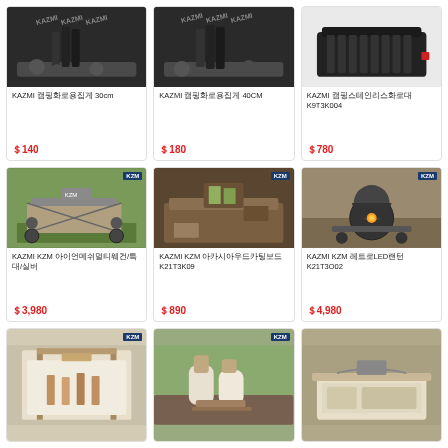[Figure (photo): KAZMI product photo - tongs 30cm, dark background with rocks]
KAZMI 캠핑화로용집게 30cm
$140
[Figure (photo): KAZMI product photo - tongs 40CM, dark background with rocks]
KAZMI 캠핑화로용집게 40CM
$180
[Figure (photo): KAZMI product photo - black rack/grill K9T3K004]
KAZMI 캠핑스테인리스화로대 K9T3K004
$780
[Figure (photo): KAZMI KZM folding wagon/cart outdoor]
KAZMI KZM 아이언메쉬멀티웨건/특대/실버
$3,980
[Figure (photo): KAZMI KZM wooden cutting board K21T3K09 with vegetables]
KAZMI KZM 아카시아우드카팅보드 K21T3K09
$890
[Figure (photo): KAZMI KZM LED lantern K21T3O02 warm glow]
KAZMI KZM 레트로LED랜턴 K21T3O02
$4,980
[Figure (photo): KAZMI KZM utensil/cutlery organizer with bamboo frame]
[Figure (photo): KAZMI KZM wooden cutlery set in ceramic cups]
[Figure (photo): KAZMI KZM storage basket/bag outdoor]